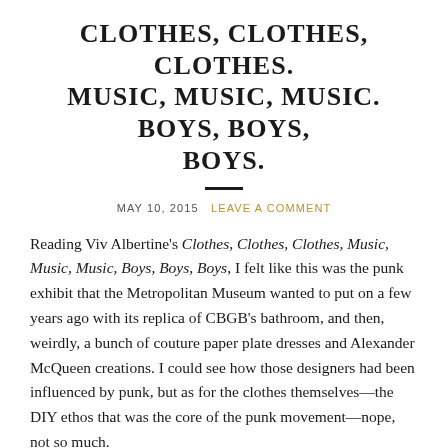CLOTHES, CLOTHES, CLOTHES. MUSIC, MUSIC, MUSIC. BOYS, BOYS, BOYS.
MAY 10, 2015   LEAVE A COMMENT
Reading Viv Albertine's Clothes, Clothes, Clothes, Music, Music, Music, Boys, Boys, Boys, I felt like this was the punk exhibit that the Metropolitan Museum wanted to put on a few years ago with its replica of CBGB's bathroom, and then, weirdly, a bunch of couture paper plate dresses and Alexander McQueen creations. I could see how those designers had been influenced by punk, but as for the clothes themselves—the DIY ethos that was the core of the punk movement—nope, not so much.
Luckily, Albertine, the guitarist of the female punk band the Slits, gives detailed descriptions of the key pieces she bought at Sex (the boutique run by Malcolm McLaren and Vivienne